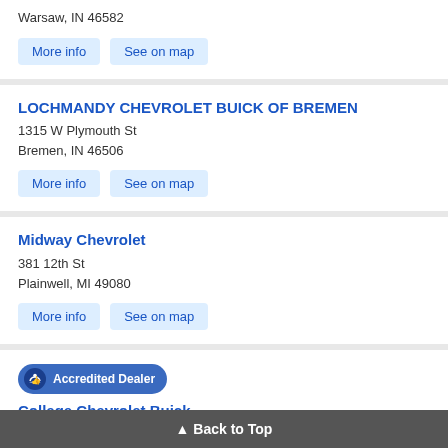Warsaw, IN 46582
More info  See on map
LOCHMANDY CHEVROLET BUICK OF BREMEN
1315 W Plymouth St
Bremen, IN 46506
More info  See on map
Midway Chevrolet
381 12th St
Plainwell, MI 49080
More info  See on map
Accredited Dealer
College Chevrolet Buick
333 Bemer St
Albion, MI 49224
▲ Back to Top